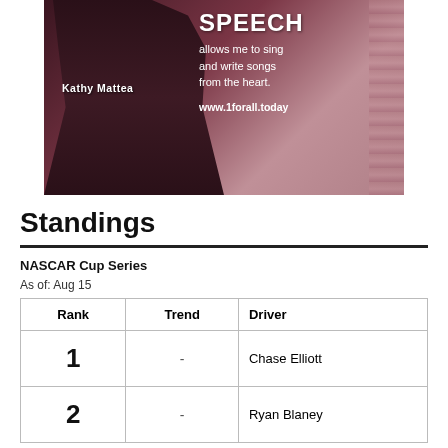[Figure (photo): Advertisement featuring Kathy Mattea holding a guitar with text 'SPEECH allows me to sing and write songs from the heart. www.1forall.today']
Standings
NASCAR Cup Series
As of: Aug 15
| Rank | Trend | Driver |
| --- | --- | --- |
| 1 | - | Chase Elliott |
| 2 | - | Ryan Blaney |